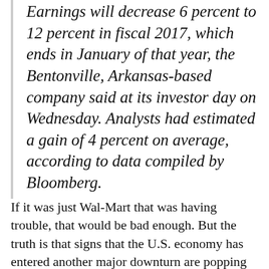Earnings will decrease 6 percent to 12 percent in fiscal 2017, which ends in January of that year, the Bentonville, Arkansas-based company said at its investor day on Wednesday. Analysts had estimated a gain of 4 percent on average, according to data compiled by Bloomberg.
If it was just Wal-Mart that was having trouble, that would be bad enough. But the truth is that signs that the U.S. economy has entered another major downturn are popping up all around us. Just consider the following list of economic indicators that Graham Summers recently put out…